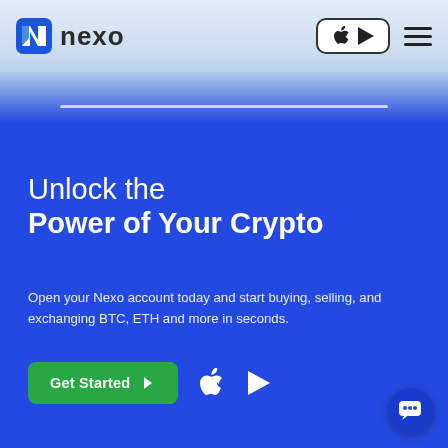[Figure (logo): Nexo logo with blue N icon and 'nexo' text]
[Figure (screenshot): App store badges (Apple and Google Play) in rounded rectangle, and hamburger menu icon]
Unlock the Power of Your Crypto
Open your Nexo account today and start buying, selling, and exchanging BTC, ETH and more in seconds.
[Figure (infographic): Green Get Started button with arrow, Apple logo icon, and Google Play triangle icon]
[Figure (illustration): Chat bubble icon in bottom right corner]